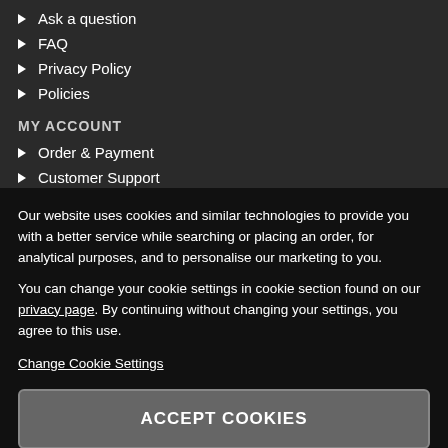Ask a question
FAQ
Privacy Policy
Policies
MY ACCOUNT
Order & Payment
Customer Support
Returns & Cancellations
Our website uses cookies and similar technologies to provide you with a better service while searching or placing an order, for analytical purposes, and to personalise our marketing to you.
You can change your cookie settings in cookie section found on our privacy page. By continuing without changing your settings, you agree to this use.
Change Cookie Settings
ACCEPT COOKIES